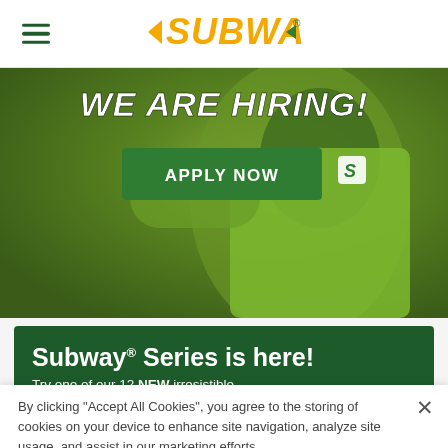SUBWAY (logo) with hamburger menu icon
[Figure (photo): A Subway employee wearing a green uniform with the Subway logo, with 'WE ARE HIRING!' text overlay and an 'APPLY NOW' green button]
Subway® Series is here! Try one of our 12 NEW irresistible
By clicking "Accept All Cookies", you agree to the storing of cookies on your device to enhance site navigation, analyze site usage, and assist in our marketing efforts.